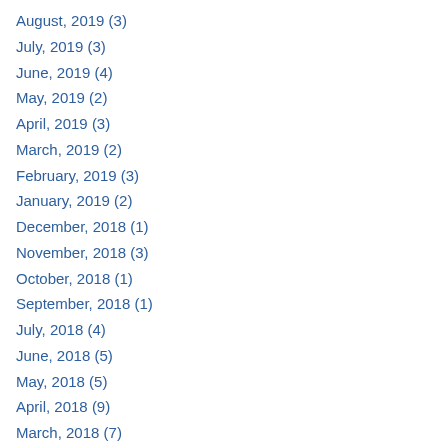August, 2019 (3)
July, 2019 (3)
June, 2019 (4)
May, 2019 (2)
April, 2019 (3)
March, 2019 (2)
February, 2019 (3)
January, 2019 (2)
December, 2018 (1)
November, 2018 (3)
October, 2018 (1)
September, 2018 (1)
July, 2018 (4)
June, 2018 (5)
May, 2018 (5)
April, 2018 (9)
March, 2018 (7)
February, 2018 (3)
January, 2018 (2)
December, 2017 (5)